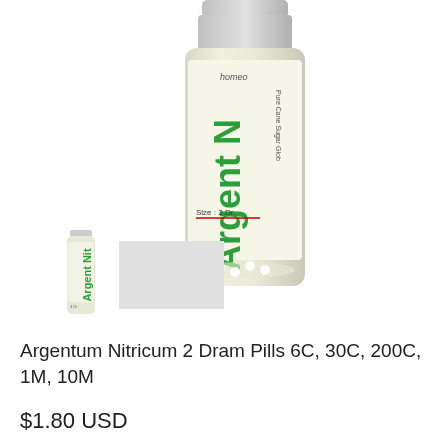[Figure (photo): Close-up photo of a homeopathic medicine bottle labeled 'Argent N' with green text, showing 'homeo', 'Size: 2 Dr.', 'Pure Cane Sugar Globules' on the label. The bottle contains small white pills visible through the glass.]
[Figure (photo): Small thumbnail image of the same Argent Nitricum homeopathic pill bottle shown from further away]
[Figure (other): Gray placeholder rectangle for a second thumbnail image]
Argentum Nitricum 2 Dram Pills 6C, 30C, 200C, 1M, 10M
$1.80 USD